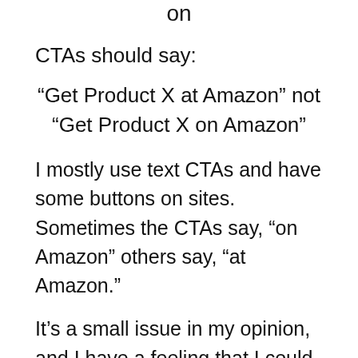on
CTAs should say:
“Get Product X at Amazon” not “Get Product X on Amazon”
I mostly use text CTAs and have some buttons on sites. Sometimes the CTAs say, “on Amazon” others say, “at Amazon.”
It’s a small issue in my opinion, and I have a feeling that I could have left it as “on Amazon.”
But it was easy enough to fix, so I did.